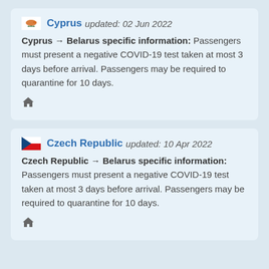Cyprus updated: 02 Jun 2022
Cyprus → Belarus specific information: Passengers must present a negative COVID-19 test taken at most 3 days before arrival. Passengers may be required to quarantine for 10 days.
Czech Republic updated: 10 Apr 2022
Czech Republic → Belarus specific information: Passengers must present a negative COVID-19 test taken at most 3 days before arrival. Passengers may be required to quarantine for 10 days.